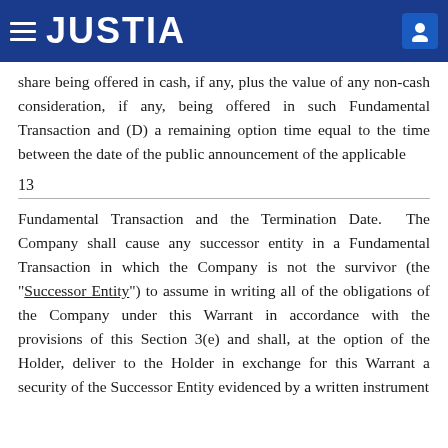JUSTIA
share being offered in cash, if any, plus the value of any non-cash consideration, if any, being offered in such Fundamental Transaction and (D) a remaining option time equal to the time between the date of the public announcement of the applicable
13
Fundamental Transaction and the Termination Date. The Company shall cause any successor entity in a Fundamental Transaction in which the Company is not the survivor (the “Successor Entity”) to assume in writing all of the obligations of the Company under this Warrant in accordance with the provisions of this Section 3(e) and shall, at the option of the Holder, deliver to the Holder in exchange for this Warrant a security of the Successor Entity evidenced by a written instrument